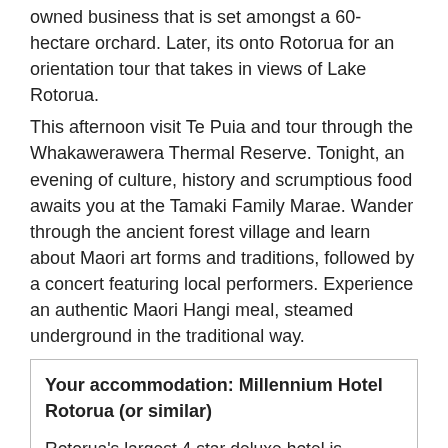owned business that is set amongst a 60-hectare orchard. Later, its onto Rotorua for an orientation tour that takes in views of Lake Rotorua.
This afternoon visit Te Puia and tour through the Whakawerawera Thermal Reserve. Tonight, an evening of culture, history and scrumptious food awaits you at the Tamaki Family Marae. Wander through the ancient forest village and learn about Maori art forms and traditions, followed by a concert featuring local performers. Experience an authentic Maori Hangi meal, steamed underground in the traditional way.
Your accommodation: Millennium Hotel Rotorua (or similar)
Rotorua's largest 4 star deluxe hotel is perfectly situated in the heart of the city overlooking Lake Rotorua. Five levels of accommodation offer guests a wide variety of scenic views.
Meals included: Breakfast, Speciality Dinner
More Information